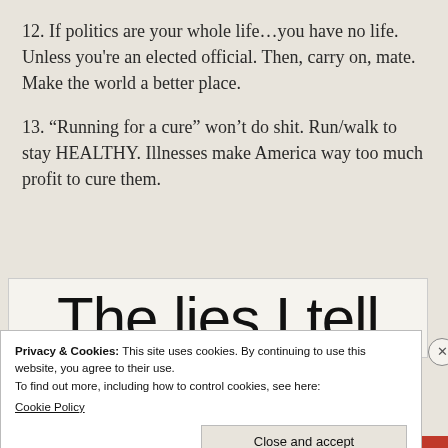12. If politics are your whole life...you have no life. Unless you're an elected official. Then, carry on, mate. Make the world a better place.
13. “Running for a cure” won’t do shit. Run/walk to stay HEALTHY. Illnesses make America way too much profit to cure them.
The lies I tell
Privacy & Cookies: This site uses cookies. By continuing to use this website, you agree to their use.
To find out more, including how to control cookies, see here:
Cookie Policy
Close and accept